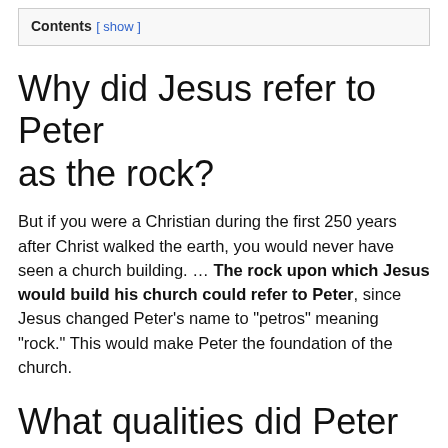Contents [ show ]
Why did Jesus refer to Peter as the rock?
But if you were a Christian during the first 250 years after Christ walked the earth, you would never have seen a church building. ... The rock upon which Jesus would build his church could refer to Peter, since Jesus changed Peter’s name to “petros” meaning “rock.” This would make Peter the foundation of the church.
What qualities did Peter have?